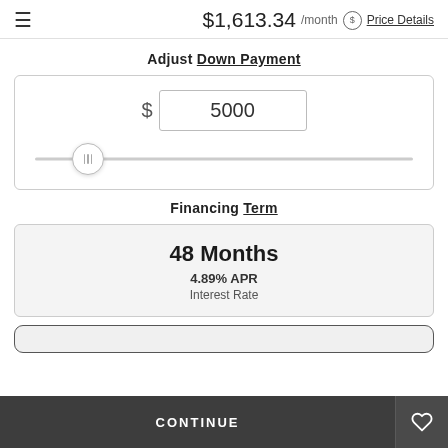$1,613.34 /month  Price Details
Adjust Down Payment
$ 5000
Financing Term
48 Months
4.89% APR
Interest Rate
CONTINUE